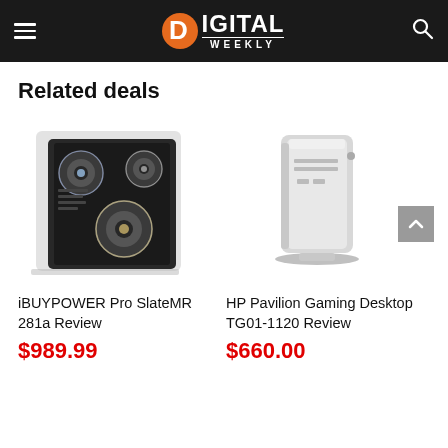DIGITAL WEEKLY
Related deals
[Figure (photo): iBUYPOWER Pro SlateMR 281a gaming PC tower with RGB fans, dark chassis, side panel view]
iBUYPOWER Pro SlateMR 281a Review
$989.99
[Figure (photo): HP Pavilion Gaming Desktop TG01-1120, white/light gray tower on a stand, front view]
HP Pavilion Gaming Desktop TG01-1120 Review
$660.00